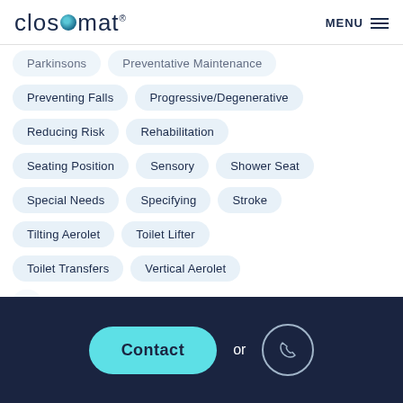closomat MENU
Parkinsons
Preventative Maintenance
Preventing Falls
Progressive/Degenerative
Reducing Risk
Rehabilitation
Seating Position
Sensory
Shower Seat
Special Needs
Specifying
Stroke
Tilting Aerolet
Toilet Lifter
Toilet Transfers
Vertical Aerolet
Contact or